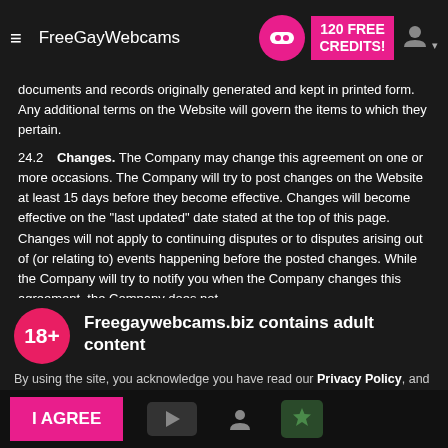FreeGayWebcams  120 FREE CREDITS!
documents and records originally generated and kept in printed form. Any additional terms on the Website will govern the items to which they pertain.
24.2  Changes. The Company may change this agreement on one or more occasions. The Company will try to post changes on the Website at least 15 days before they become effective. Changes will become effective on the "last updated" date stated at the top of this page. Changes will not apply to continuing disputes or to disputes arising out of (or relating to) events happening before the posted changes. While the Company will try to notify you when the Company changes this agreement, the Company does not assume an obligation to do so, and it is your responsibility to frequently check this page to review the most current agreement.
Freegaywebcams.biz contains adult content
By using the site, you acknowledge you have read our Privacy Policy, and agree to our Terms and Conditions.
We use cookies to optimize your experience, analyze traffic, and deliver more personalized service. To learn more, please see our Privacy Policy.
I AGREE